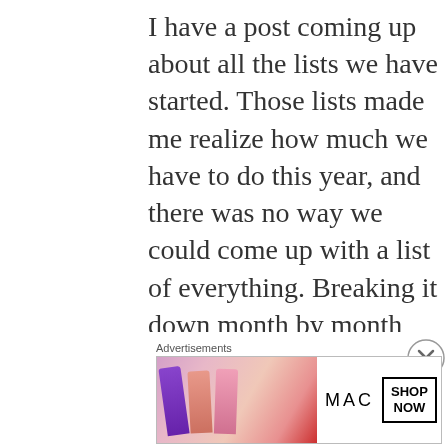I have a post coming up about all the lists we have started. Those lists made me realize how much we have to do this year, and there was no way we could come up with a list of everything. Breaking it down month by month just makes more sense for all we have to accomplish this year.
[Figure (other): Close (X) button circle icon on the right side of the page]
Advertisements
[Figure (photo): MAC Cosmetics advertisement banner showing colorful lipsticks on the left, MAC logo in the center, a SHOP NOW button box, and a red lipstick on the right]